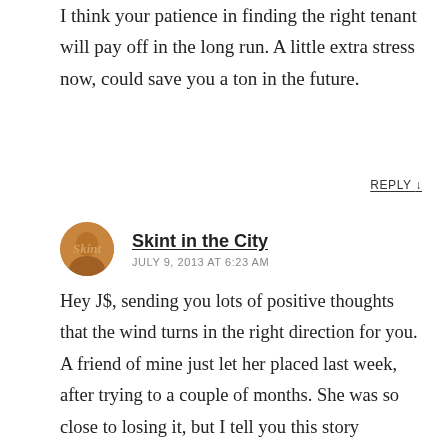I think your patience in finding the right tenant will pay off in the long run. A little extra stress now, could save you a ton in the future.
REPLY ↓
Skint in the City
JULY 9, 2013 AT 6:23 AM
Hey J$, sending you lots of positive thoughts that the wind turns in the right direction for you. A friend of mine just let her placed last week, after trying to a couple of months. She was so close to losing it, but I tell you this story because I believe that these situations generally do turn out fine in the end. That last couple of weeks before she knew